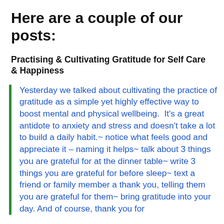Here are a couple of our posts:
Practising & Cultivating Gratitude for Self Care & Happiness
Yesterday we talked about cultivating the practice of gratitude as a simple yet highly effective way to boost mental and physical wellbeing.  It's a great antidote to anxiety and stress and doesn't take a lot to build a daily habit.~ notice what feels good and appreciate it – naming it helps~ talk about 3 things you are grateful for at the dinner table~ write 3 things you are grateful for before sleep~ text a friend or family member a thank you, telling them you are grateful for them~ bring gratitude into your day. And of course, thank you for